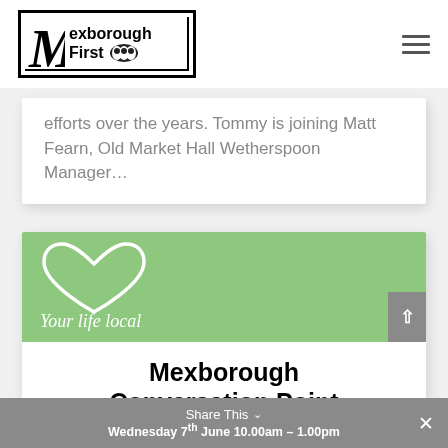[Figure (logo): Mexborough First logo with stylized M and people icon inside a double-border rectangle]
efforts over the years. Tommy is joining Matt Fearn, Old Market Hall Wetherspoon Manager…
[Figure (illustration): Green banner with white hand-drawn heart outline and cursive text 'Your life local']
Mexborough Conversation Point
Share This  Wednesday 7th June 10.00am – 1.00pm